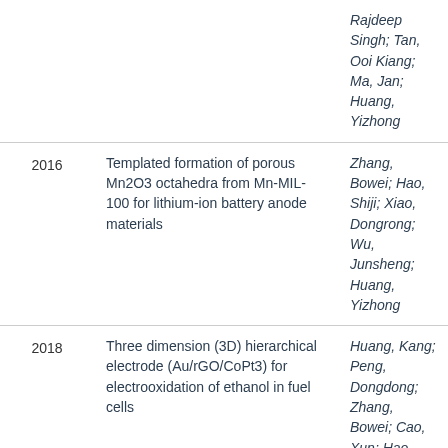| Year | Title | Authors |
| --- | --- | --- |
|  |  | Rajdeep Singh; Tan, Ooi Kiang; Ma, Jan; Huang, Yizhong |
| 2016 | Templated formation of porous Mn2O3 octahedra from Mn-MIL-100 for lithium-ion battery anode materials | Zhang, Bowei; Hao, Shiji; Xiao, Dongrong; Wu, Junsheng; Huang, Yizhong |
| 2018 | Three dimension (3D) hierarchical electrode (Au/rGO/CoPt3) for electrooxidation of ethanol in fuel cells | Huang, Kang; Peng, Dongdong; Zhang, Bowei; Cao, Xun; Hao, Shiji; Yang, Guang; Dong, Yibing; Wu, Junsheng; Huang, Yizhong |
| 2013 | Towards perfectly ordered novel ZnO/Si nano-heterojunction arrays | Liu, Hai; Yadian, Boluo; Wei, Yuefan; Wu, Junsheng; Zhang, Sen; Sun, Linfeng; Zhao, |